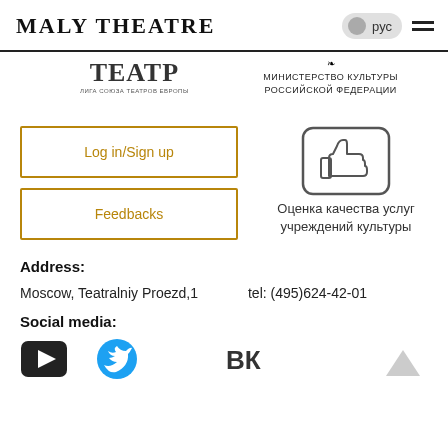MALY THEATRE
[Figure (logo): Theatre union Europe logo with Cyrillic text ТЕАТР / ЛИГА СОЮЗА ТЕАТРОВ ЕВРОПЫ]
[Figure (logo): Министерство культуры Российской Федерации logo]
Log in/Sign up
Feedbacks
[Figure (illustration): Thumbs up icon in rounded rectangle box]
Оценка качества услуг учреждений культуры
Address:
Moscow, Teatralniy Proezd,1
tel: (495)624-42-01
Social media:
[Figure (logo): YouTube icon (dark play button)]
[Figure (logo): Twitter bird icon (blue circle)]
[Figure (logo): VK logo]